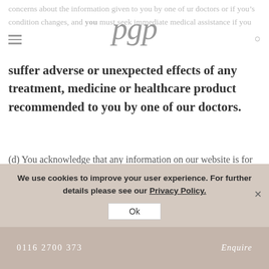pgp
concerns about the information given to you by one of our doctors or if your condition changes, and you must seek immediate medical assistance if you
suffer adverse or unexpected effects of any treatment, medicine or healthcare product recommended to you by one of our doctors.
(d) You acknowledge that any information on our website is for general educational and informational purposes only and is not intended to amount to advice from a doctor on which you should rely.
We use cookies to improve your user experience. For further details please see our Privacy Policy.
Ok
2. Information about the services we Contact ×
0116 2700 373    Enquire